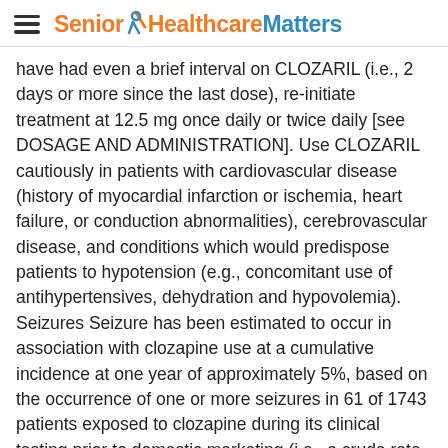Senior Healthcare Matters
have had even a brief interval on CLOZARIL (i.e., 2 days or more since the last dose), re-initiate treatment at 12.5 mg once daily or twice daily [see DOSAGE AND ADMINISTRATION]. Use CLOZARIL cautiously in patients with cardiovascular disease (history of myocardial infarction or ischemia, heart failure, or conduction abnormalities), cerebrovascular disease, and conditions which would predispose patients to hypotension (e.g., concomitant use of antihypertensives, dehydration and hypovolemia). Seizures Seizure has been estimated to occur in association with clozapine use at a cumulative incidence at one year of approximately 5%, based on the occurrence of one or more seizures in 61 of 1743 patients exposed to clozapine during its clinical testing prior to domestic marketing (i.e., a crude rate of 3.5%). The risk of seizure is dose-related. Initiate